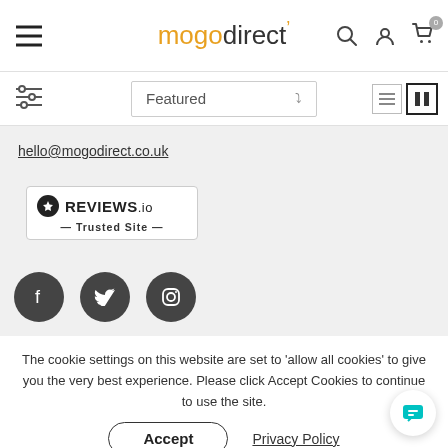mogodirect navigation bar with hamburger menu, search, user, and cart icons
Featured
hello@mogodirect.co.uk
[Figure (logo): REVIEWS.io — Trusted Site badge with star icon]
[Figure (infographic): Social media icons: Facebook, Twitter, Instagram]
The cookie settings on this website are set to 'allow all cookies' to give you the very best experience. Please click Accept Cookies to continue to use the site.
Accept
Privacy Policy